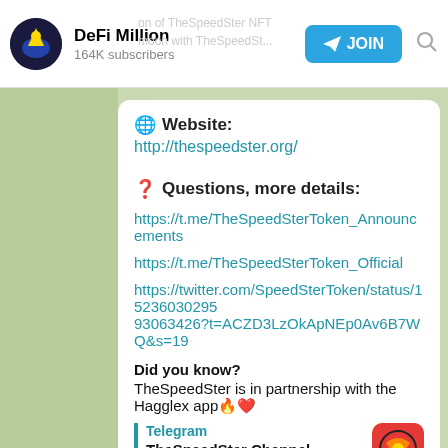DeFi Million — 164K subscribers
🌐 Website:
http://thespeedster.org/
❓ Questions, more details:
https://t.me/TheSpeedSterToken_Announcements
https://t.me/TheSpeedSterToken_Official
https://twitter.com/SpeedSterToken/status/152360302959306342?t=ACZD3LzOkApNEp0Av6B7WQ&s=19
Did you know?
TheSpeedSter is in partnership with the Hagglex app 🔥❤️
Telegram
TheSpeedSter Channel Official
A decentralized meme concept inspired by The